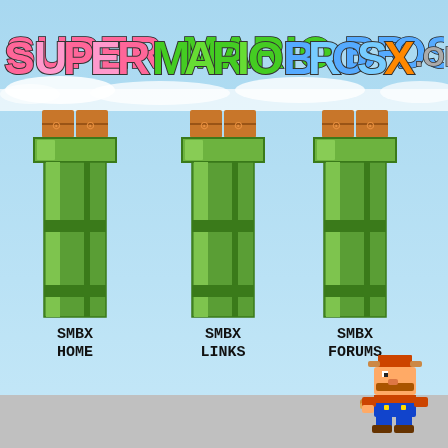SUPER MARIO BROS X .ORG
[Figure (screenshot): Three Mario-style green warp pipes with brown brick blocks on top, serving as navigation buttons for SMBX HOME, SMBX LINKS, and SMBX FORUMS]
SMBX HOME
SMBX LINKS
SMBX FORUMS
[Figure (illustration): Pixel art of Raccoon Mario (Tanooki suit Mario) sprite walking/running, facing left]
[Figure (screenshot): Orange navigation bar with screw icons on left side]
[Figure (screenshot): Gray panel with Quick links and FAQ icons, and Home breadcrumb navigation showing Home > Board index]
Quick links
FAQ
Home ‹ Board index
Super Mario Bros. X Forums - Registration